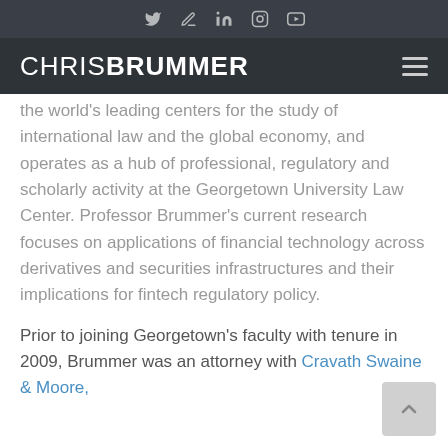[icon bar with social/media icons]
CHRISBRUMMER [hamburger menu]
the world's leading centers for the study of international law and the global economy, and operates as a hub of professional, regulatory and scholarly activity at the Georgetown University Law Center.  Professor Brummer's current research focuses on applications of financial technology across derivatives and securities infrastructures and their implications for fintech regulatory policy.
Prior to joining Georgetown's faculty with tenure in 2009, Brummer was an attorney with Cravath Swaine & Moore,